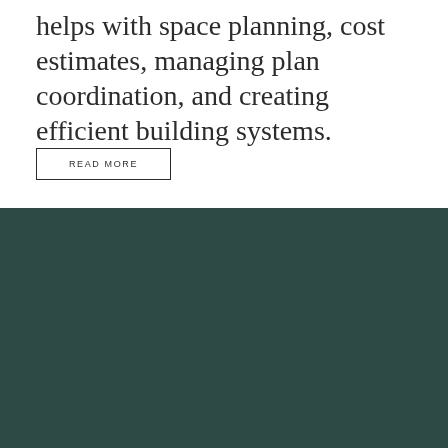helps with space planning, cost estimates, managing plan coordination, and creating efficient building systems.
READ MORE
[Figure (other): Dark teal/green background section filling the bottom half of the page]